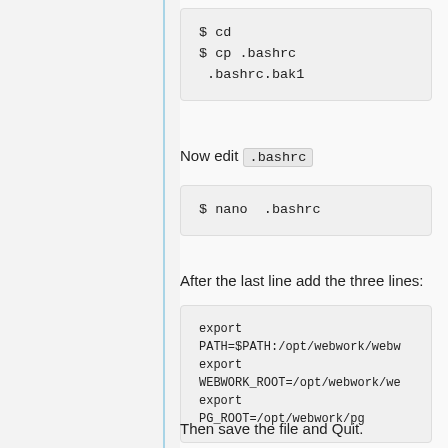[Figure (screenshot): Code block showing: $ cd
$ cp .bashrc .bashrc.bak1]
Now edit .bashrc
[Figure (screenshot): Code block showing: $ nano  .bashrc]
After the last line add the three lines:
[Figure (screenshot): Code block showing:
export
PATH=$PATH:/opt/webwork/webw...
export
WEBWORK_ROOT=/opt/webwork/we...
export
PG_ROOT=/opt/webwork/pg]
Then save the file and Quit.